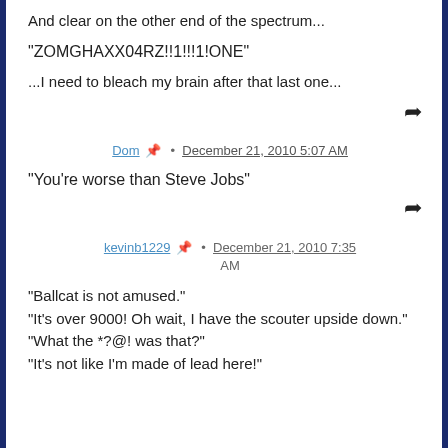And clear on the other end of the spectrum...
"ZOMGHAXX04RZ!!1!!!1!ONE"
...I need to bleach my brain after that last one...
Dom · December 21, 2010 5:07 AM
"You're worse than Steve Jobs"
kevinb1229 · December 21, 2010 7:35 AM
"Ballcat is not amused."
"It's over 9000! Oh wait, I have the scouter upside down."
"What the *?@! was that?"
"It's not like I'm made of lead here!"